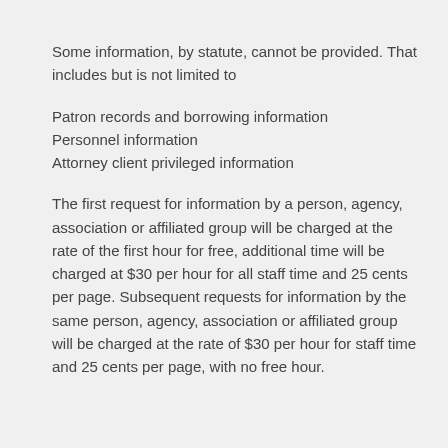Some information, by statute, cannot be provided. That includes but is not limited to
Patron records and borrowing information
Personnel information
Attorney client privileged information
The first request for information by a person, agency, association or affiliated group will be charged at the rate of the first hour for free, additional time will be charged at $30 per hour for all staff time and 25 cents per page. Subsequent requests for information by the same person, agency, association or affiliated group will be charged at the rate of $30 per hour for staff time and 25 cents per page, with no free hour.